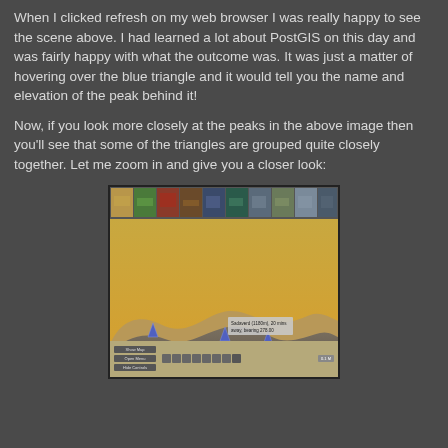When I clicked refresh on my web browser I was really happy to see the scene above. I had learned a lot about PostGIS on this day and was fairly happy with what the outcome was. It was just a matter of hovering over the blue triangle and it would tell you the name and elevation of the peak behind it!
Now, if you look more closely at the peaks in the above image then you'll see that some of the triangles are grouped quite closely together. Let me zoom in and give you a closer look:
[Figure (screenshot): A web browser screenshot showing a panoramic mountain viewer with thumbnail strip at top, an orange/tan sky, dark terrain silhouette with blue triangular peak markers, a tooltip showing peak information, and navigation controls at the bottom.]